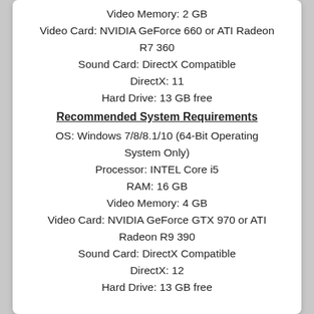Video Memory: 2 GB
Video Card: NVIDIA GeForce 660 or ATI Radeon R7 360
Sound Card: DirectX Compatible
DirectX: 11
Hard Drive: 13 GB free
Recommended System Requirements
OS: Windows 7/8/8.1/10 (64-Bit Operating System Only)
Processor: INTEL Core i5
RAM: 16 GB
Video Memory: 4 GB
Video Card: NVIDIA GeForce GTX 970 or ATI Radeon R9 390
Sound Card: DirectX Compatible
DirectX: 12
Hard Drive: 13 GB free